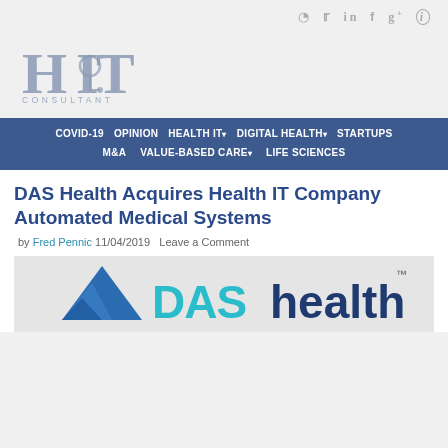Social icons: RSS, Twitter, LinkedIn, Facebook, Google+, Info
[Figure (logo): HIT Consultant logo — stylized letters H I T with a stethoscope, subtitle CONSULTANT]
Navigation: COVID-19 | OPINION | HEALTH IT▾ | DIGITAL HEALTH▾ | STARTUPS | M&A | VALUE-BASED CARE▾ | LIFE SCIENCES
DAS Health Acquires Health IT Company Automated Medical Systems
by Fred Pennic 11/04/2019   Leave a Comment
[Figure (logo): DAS health logo — blue triangle arrow on left, teal 'DAS' text, dark blue 'health' text with TM mark]